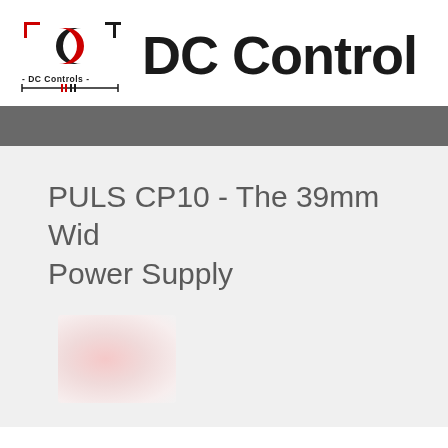[Figure (logo): DC Controls company logo with red and black DC symbol and text '-DC Controls-' with circuit symbol below]
DC Controls
PULS CP10 - The 39mm Wide Power Supply